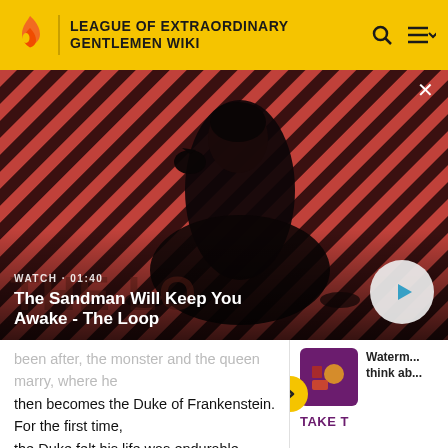LEAGUE OF EXTRAORDINARY GENTLEMEN WIKI
[Figure (screenshot): Video thumbnail showing a dark figure with a raven on shoulder against a red and black diagonal striped background. Video title overlay: 'The Sandman Will Keep You Awake - The Loop'. Duration label: 'WATCH · 01:40'. Play button visible bottom right.]
...been after, the monster and the queen marry, where he then becomes the Duke of Frankenstein. For the first time, the Duke felt his life was endurable. How quite lonely living in Toyland. This was d... he was the only organic being in a world ... The Queen then ordered the creation of d...
[Figure (infographic): Side panel with yellow arrow chevron, purple thumbnail card, text 'Waterm... think ab...' and 'TAKE T...' CTA in purple uppercase.]